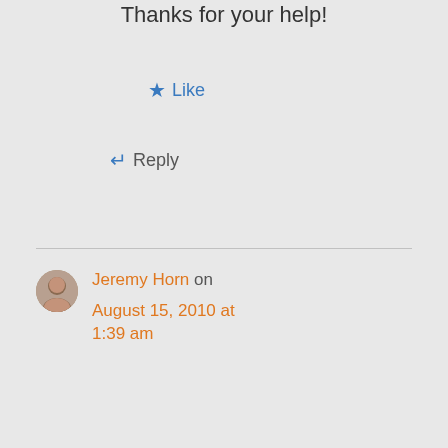Thanks for your help!
★ Like
↵ Reply
Jeremy Horn on August 15, 2010 at 1:39 am
Can you send me a ZIP of an example of the code that I can run locally to check out next weekend? Also, please let me know browser and OS version you are